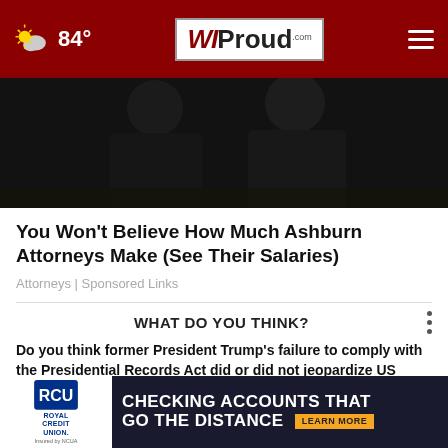84° — WI Proud
[Figure (photo): Dark photograph showing two people in dark clothing, likely attorneys, cropped to show torsos only]
You Won't Believe How Much Ashburn Attorneys Make (See Their Salaries)
Attorneys | Sponsored Links
WHAT DO YOU THINK?
Do you think former President Trump's failure to comply with the Presidential Records Act did or did not jeopardize US national security?
[Figure (screenshot): Royal Credit Union advertisement banner: 'CHECKING ACCOUNTS THAT GO THE DISTANCE' with LEARN MORE button]